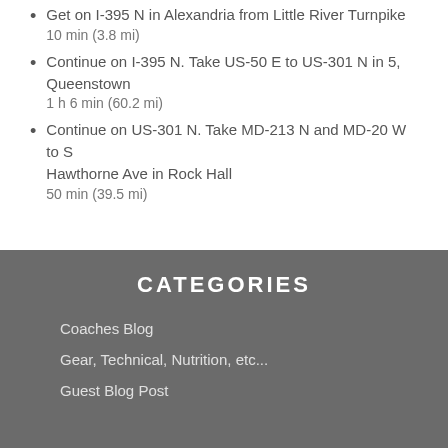Get on I-395 N in Alexandria from Little River Turnpike
10 min (3.8 mi)
Continue on I-395 N. Take US-50 E to US-301 N in 5, Queenstown
1 h 6 min (60.2 mi)
Continue on US-301 N. Take MD-213 N and MD-20 W to S Hawthorne Ave in Rock Hall
50 min (39.5 mi)
CATEGORIES
Coaches Blog
Gear, Technical, Nutrition, etc...
Guest Blog Post